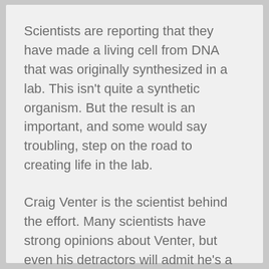Scientists are reporting that they have made a living cell from DNA that was originally synthesized in a lab. This isn't quite a synthetic organism. But the result is an important, and some would say troubling, step on the road to creating life in the lab.
Craig Venter is the scientist behind the effort. Many scientists have strong opinions about Venter, but even his detractors will admit he's a man who thinks big.